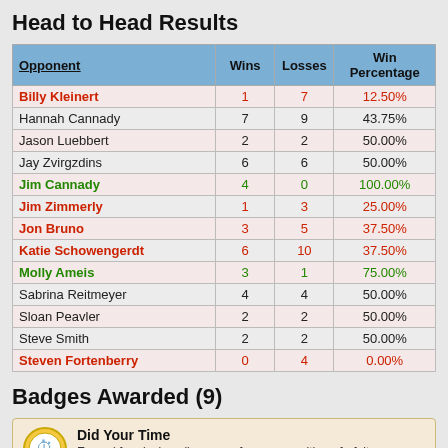Head to Head Results
| Opponent | Wins | Losses | Win Percentage |
| --- | --- | --- | --- |
| Billy Kleinert | 1 | 7 | 12.50% |
| Hannah Cannady | 7 | 9 | 43.75% |
| Jason Luebbert | 2 | 2 | 50.00% |
| Jay Zvirgzdins | 6 | 6 | 50.00% |
| Jim Cannady | 4 | 0 | 100.00% |
| Jim Zimmerly | 1 | 3 | 25.00% |
| Jon Bruno | 3 | 5 | 37.50% |
| Katie Schowengerdt | 6 | 10 | 37.50% |
| Molly Ameis | 3 | 1 | 75.00% |
| Sabrina Reitmeyer | 4 | 4 | 50.00% |
| Sloan Peavler | 2 | 2 | 50.00% |
| Steve Smith | 2 | 2 | 50.00% |
| Steven Fortenberry | 0 | 4 | 0.00% |
Badges Awarded (9)
[Figure (other): Badge icon - Did Your Time]
Did Your Time
Earned for playing all games of a season with no forfeits